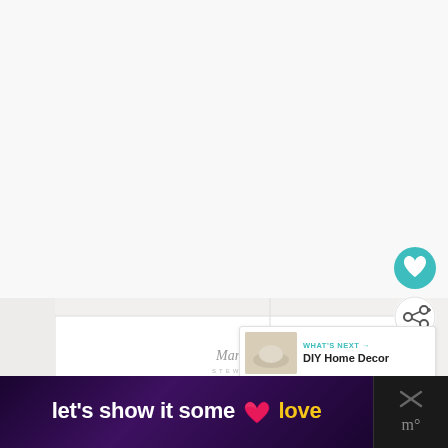[Figure (photo): White bathroom countertop scene showing a Martha Stewart branded white box/organizer, soap dispenser, cup holder, and sink area with brushed metal details]
[Figure (infographic): Teal circular favorite/heart button and a white circular share button overlaid on the photo]
[Figure (infographic): WHAT'S NEXT panel with thumbnail showing 'DIY Home Decor' text and a thumbnail image]
[Figure (infographic): Advertisement banner: black background with gradient purple, text reads 'let's show it some love' with a pink heart icon and yellow 'love' word; right side shows X mark and M-dot symbol]